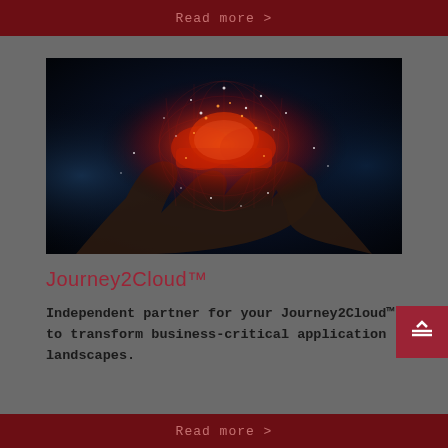Read more >
[Figure (photo): Hands holding a glowing digital cloud with red and white sparkling particles on a dark blue background, representing cloud computing.]
Journey2Cloud™
Independent partner for your Journey2Cloud™ to transform business-critical application landscapes.
Read more >